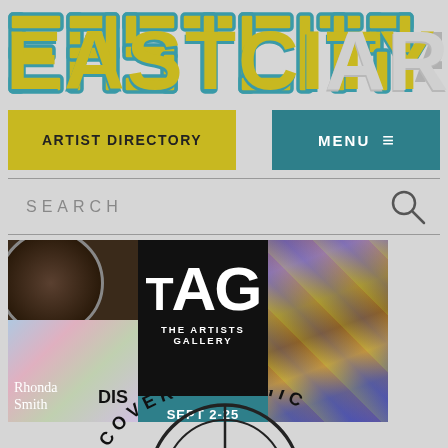[Figure (logo): EASTCITYART logo text in large stylized letters, teal outline with yellow/olive fill on first part, gray on ART]
ARTIST DIRECTORY
MENU ≡
SEARCH
[Figure (photo): TAG The Artists Gallery banner advertisement showing artwork collage with text: TAG, THE ARTISTS GALLERY, Rhonda Smith, SEPT 2-25]
[Figure (logo): DISCOVER GRAPHIC circular logo, partially visible at bottom of page]